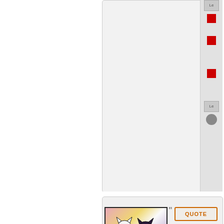[Figure (screenshot): Top portion of a forum page showing a right panel with scrollbar containing red square indicators and navigation buttons on a light gray background.]
[Figure (illustration): Avatar image for user Tuboo Shippers showing two cartoon cat-like characters (one white, one dark/black) on a colorful swirling background of pink, yellow and purple.]
QUOTE
by Tuboo Shippers » Mon May 23, 2022 11:43 am
Tuboo Shippers
Envoy
Posts: 250
Founded: Feb 24, 2022
Liberal Democratic Socialists
Mu
Fre
&
the
Re
So
to